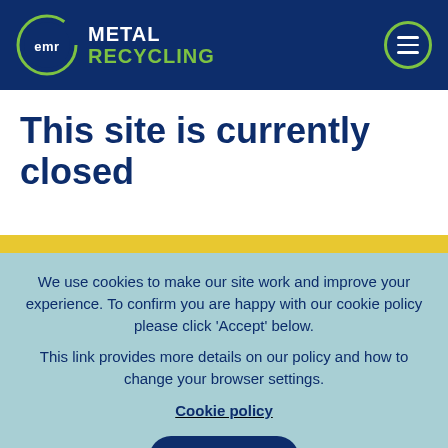EMR METAL RECYCLING
This site is currently closed
We use cookies to make our site work and improve your experience. To confirm you are happy with our cookie policy please click 'Accept' below.
This link provides more details on our policy and how to change your browser settings.
Cookie policy
I agree